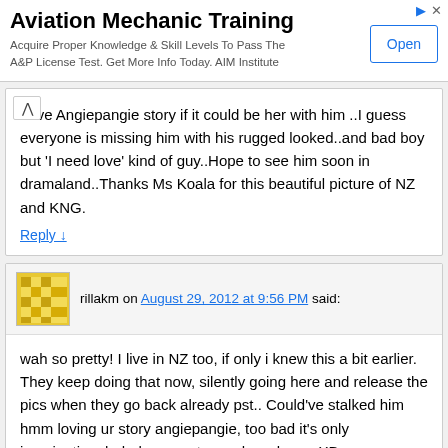[Figure (infographic): Advertisement banner for Aviation Mechanic Training with Open button]
Love Angiepangie story if it could be her with him ..I guess everyone is missing him with his rugged looked..and bad boy but 'I need love' kind of guy..Hope to see him soon in dramaland..Thanks Ms Koala for this beautiful picture of NZ and KNG.
Reply ↓
rillakm on August 29, 2012 at 9:56 PM said:
wah so pretty! I live in NZ too, if only i knew this a bit earlier. They keep doing that now, silently going here and release the pics when they go back already pst.. Could've stalked him hmm loving ur story angiepangie, too bad it's only imagination, hahaha sorry to crush ur dream XD
Reply ↓